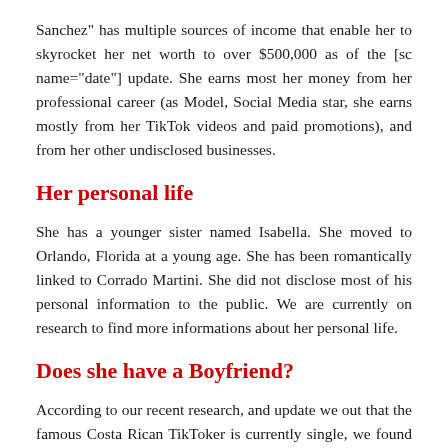Sanchez" has multiple sources of income that enable her to skyrocket her net worth to over $500,000 as of the [sc name="date"] update. She earns most her money from her professional career (as Model, Social Media star, she earns mostly from her TikTok videos and paid promotions), and from her other undisclosed businesses.
Her personal life
She has a younger sister named Isabella. She moved to Orlando, Florida at a young age. She has been romantically linked to Corrado Martini. She did not disclose most of his personal information to the public. We are currently on research to find more informations about her personal life.
Does she have a Boyfriend?
According to our recent research, and update we out that the famous Costa Rican TikToker is currently single, we found zero traces of boyfriend on her wall.